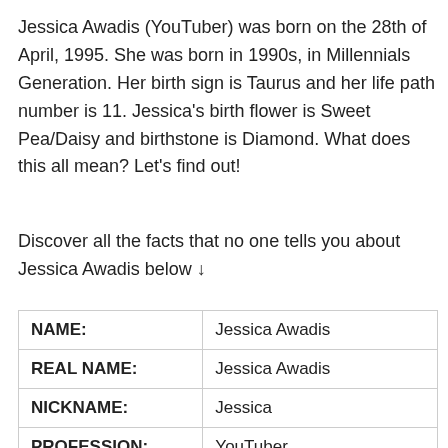Jessica Awadis (YouTuber) was born on the 28th of April, 1995. She was born in 1990s, in Millennials Generation. Her birth sign is Taurus and her life path number is 11. Jessica's birth flower is Sweet Pea/Daisy and birthstone is Diamond. What does this all mean? Let's find out!
Discover all the facts that no one tells you about Jessica Awadis below ↓
| NAME: | Jessica Awadis |
| REAL NAME: | Jessica Awadis |
| NICKNAME: | Jessica |
| PROFESSION: | YouTuber |
| GENDER: | Female |